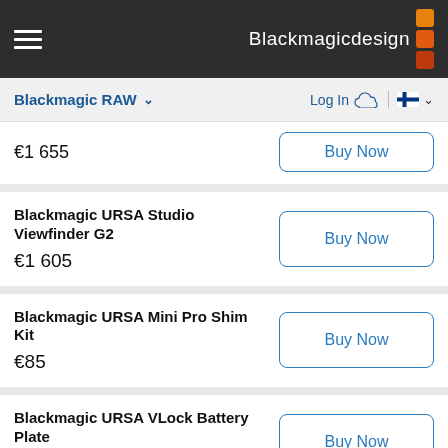Blackmagicdesign
Blackmagic RAW  Log In
€1 655
Blackmagic URSA Studio Viewfinder G2
€1 605
Blackmagic URSA Mini Pro Shim Kit
€85
Blackmagic URSA VLock Battery Plate
€99